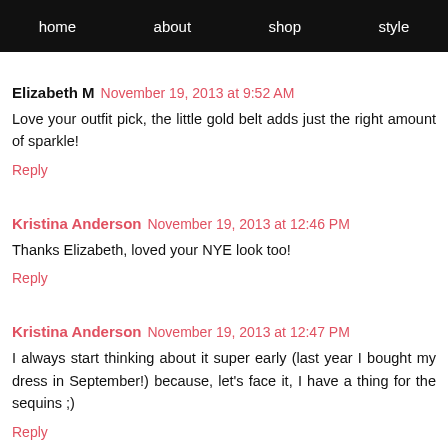home   about   shop   style
Elizabeth M  November 19, 2013 at 9:52 AM
Love your outfit pick, the little gold belt adds just the right amount of sparkle!
Reply
Kristina Anderson  November 19, 2013 at 12:46 PM
Thanks Elizabeth, loved your NYE look too!
Reply
Kristina Anderson  November 19, 2013 at 12:47 PM
I always start thinking about it super early (last year I bought my dress in September!) because, let's face it, I have a thing for the sequins ;)
Reply